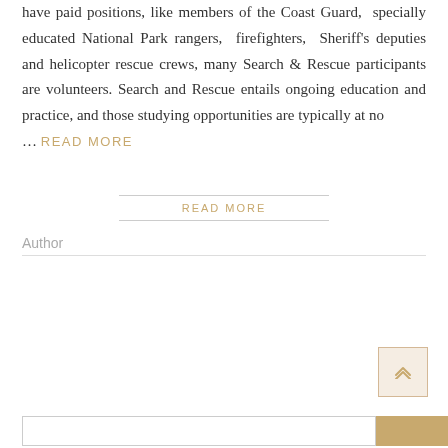have paid positions, like members of the Coast Guard, specially educated National Park rangers, firefighters, Sheriff's deputies and helicopter rescue crews, many Search & Rescue participants are volunteers. Search and Rescue entails ongoing education and practice, and those studying opportunities are typically at no … READ MORE
READ MORE
Author
[Figure (other): Scroll-to-top button with double chevron up arrow icon, styled with a tan/beige border and background]
Search input bar with submit button